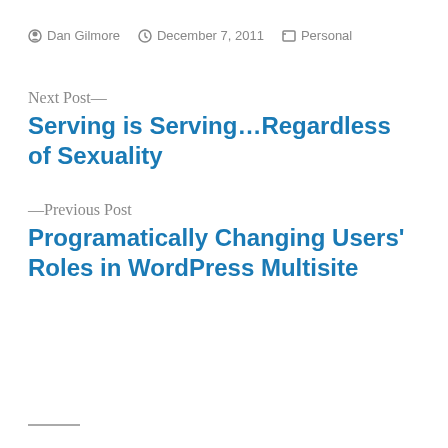Dan Gilmore   December 7, 2011   Personal
Next Post—
Serving is Serving…Regardless of Sexuality
—Previous Post
Programatically Changing Users' Roles in WordPress Multisite